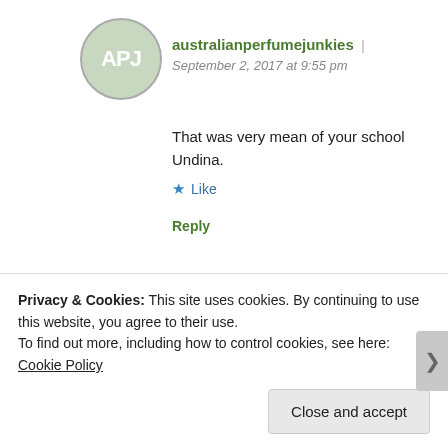australianperfumejunkies | September 2, 2017 at 9:55 pm
That was very mean of your school Undina.
Like
Reply
Undina | September 2, 2017 at 11:06
Privacy & Cookies: This site uses cookies. By continuing to use this website, you agree to their use.
To find out more, including how to control cookies, see here: Cookie Policy
Close and accept